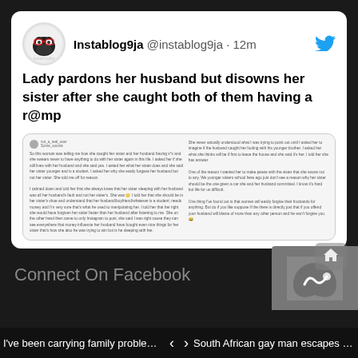[Figure (screenshot): Tweet from Instablog9ja (@instablog9ja) posted 12 minutes ago with Twitter bird logo. Contains embedded blurred Facebook post screenshot.]
Instablog9ja @instablog9ja · 12m
Lady pardons her husband but disowns her sister after she caught both of them having a r@mp
[Figure (screenshot): Blurred embedded social media post with two columns of small text]
Connect On Facebook
I've been carrying family problems sin…   <   >   South African gay man escapes being …